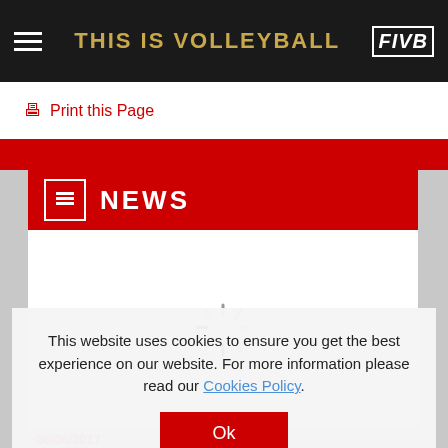THIS IS VOLLEYBALL
Print this Page
NEWS
[Figure (other): Loading spinner / throbber animation shown in content area]
06/06/2017
St...
This website uses cookies to ensure you get the best experience on our website. For more information please read our Cookies Policy.
Ok